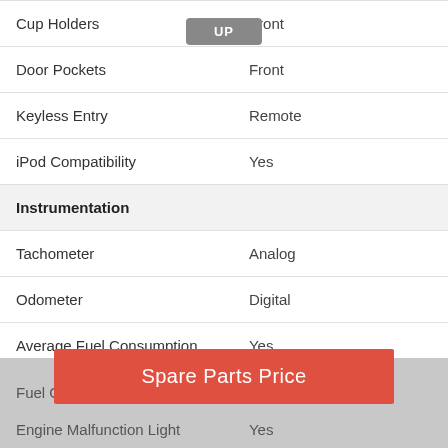| Feature | Value |
| --- | --- |
| Cup Holders | Front |
| Door Pockets | Front |
| Keyless Entry | Remote |
| iPod Compatibility | Yes |
| Instrumentation |  |
| Tachometer | Analog |
| Odometer | Digital |
| Average Fuel Consumption | Yes |
| Average Speed | Yes |
| Tripmeter | Yes |
| Fuel Gauge | Analog |
| Engine Malfunction Light | Yes |
Spare Parts Price